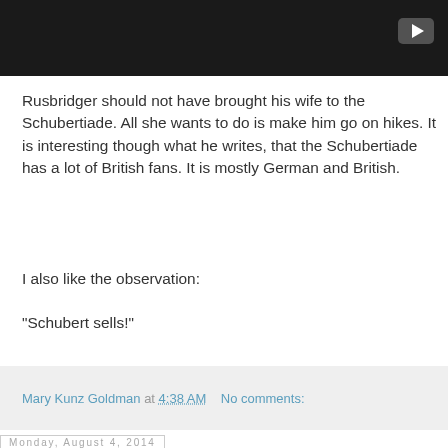[Figure (screenshot): Dark video player thumbnail with a play button in the top right corner]
Rusbridger should not have brought his wife to the Schubertiade. All she wants to do is make him go on hikes. It is interesting though what he writes, that the Schubertiade has a lot of British fans. It is mostly German and British.
I also like the observation:
"Schubert sells!"
Mary Kunz Goldman at 4:38 AM   No comments:
Monday, August 4, 2014
Mozart's wedding anniversary
[Figure (photo): Black and white photograph of a person, partially visible, near an ornate frame]